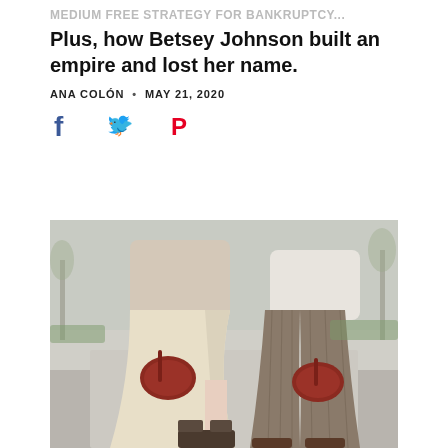Plus, how Betsey Johnson built an empire and lost her name.
ANA COLÓN • MAY 21, 2020
[Figure (illustration): Social share icons: Facebook (blue f), Twitter (blue bird), Pinterest (red P)]
[Figure (photo): Street style photo of two women walking outdoors, one wearing a beige/cream draped maxi skirt with a slit and dark platform heeled sandals carrying a dark red leather handbag, the other wearing brown pinstripe wide trousers and a white crop top carrying a matching dark red leather handbag, background shows a blurred park path and trees.]